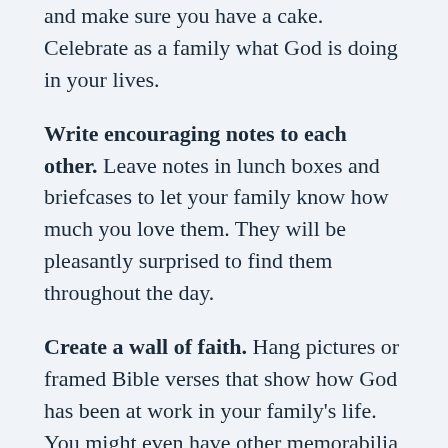birthdays, go all out and decorate with balloons and make sure you have a cake. Celebrate as a family what God is doing in your lives.
Write encouraging notes to each other. Leave notes in lunch boxes and briefcases to let your family know how much you love them. They will be pleasantly surprised to find them throughout the day.
Create a wall of faith. Hang pictures or framed Bible verses that show how God has been at work in your family's life. You might even have other memorabilia that could be put in shadow boxes. Use this as a conversation piece when you have company over. It's a great way to share your